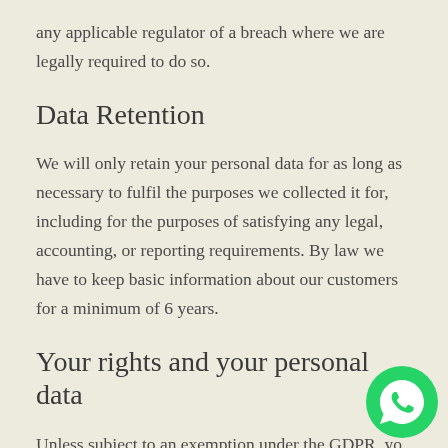any applicable regulator of a breach where we are legally required to do so.
Data Retention
We will only retain your personal data for as long as necessary to fulfil the purposes we collected it for, including for the purposes of satisfying any legal, accounting, or reporting requirements. By law we have to keep basic information about our customers for a minimum of 6 years.
Your rights and your personal data
Unless subject to an exemption under the GDPR, you have the following rights with respect to your personal